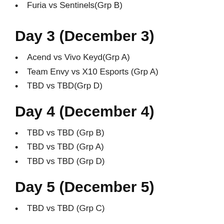Furia vs Sentinels(Grp B)
Day 3 (December 3)
Acend vs Vivo Keyd(Grp A)
Team Envy vs X10 Esports (Grp A)
TBD vs TBD(Grp D)
Day 4 (December 4)
TBD vs TBD (Grp B)
TBD vs TBD (Grp A)
TBD vs TBD (Grp D)
Day 5 (December 5)
TBD vs TBD (Grp C)